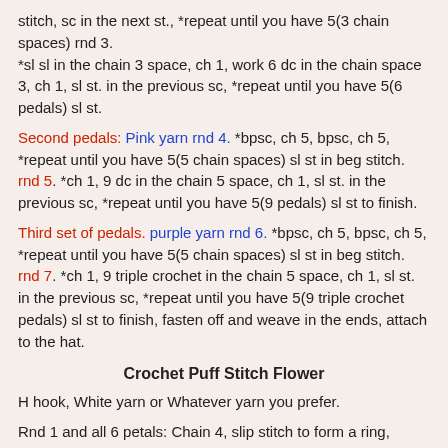stitch, sc in the next st., *repeat until you have 5(3 chain spaces) rnd 3. *sl sl in the chain 3 space, ch 1, work 6 dc in the chain space 3, ch 1, sl st. in the previous sc, *repeat until you have 5(6 pedals) sl st.
Second pedals: Pink yarn rnd 4. *bpsc, ch 5, bpsc, ch 5, *repeat until you have 5(5 chain spaces) sl st in beg stitch. rnd 5. *ch 1, 9 dc in the chain 5 space, ch 1, sl st. in the previous sc, *repeat until you have 5(9 pedals) sl st to finish.
Third set of pedals. purple yarn rnd 6. *bpsc, ch 5, bpsc, ch 5, *repeat until you have 5(5 chain spaces) sl st in beg stitch. rnd 7. *ch 1, 9 triple crochet in the chain 5 space, ch 1, sl st. in the previous sc, *repeat until you have 5(9 triple crochet pedals) sl st to finish, fasten off and weave in the ends, attach to the hat.
Crochet Puff Stitch Flower
H hook, White yarn or Whatever yarn you prefer.
Rnd 1 and all 6 petals: Chain 4, slip stitch to form a ring, Chain 2 (counts as first dc) and work 11 dc in the ring, sl st